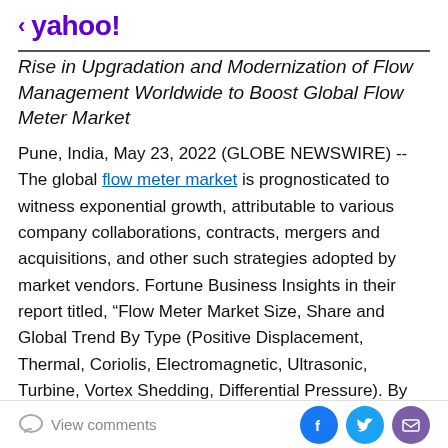< yahoo!
Rise in Upgradation and Modernization of Flow Management Worldwide to Boost Global Flow Meter Market
Pune, India, May 23, 2022 (GLOBE NEWSWIRE) -- The global flow meter market is prognosticated to witness exponential growth, attributable to various company collaborations, contracts, mergers and acquisitions, and other such strategies adopted by market vendors. Fortune Business Insights in their report titled, “Flow Meter Market Size, Share and Global Trend By Type (Positive Displacement, Thermal, Coriolis, Electromagnetic, Ultrasonic, Turbine, Vortex Shedding, Differential Pressure). By End-user Industry (Water &
View comments